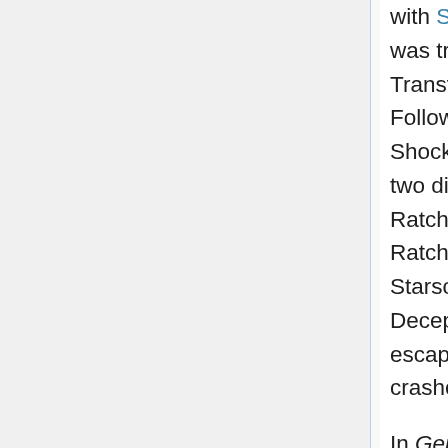with Shockwave in instigating the Decepticon Civil War, and was transported to Cybertron along with all the other Transformers in preparation for the battle against Unicron. Following the Transformers' victory, Starscream and Shockwave fled the planet in a restored Ark. On the way the two discovered some unlikely company—Megatron and Ratchet, both restored by Nucleon. Starscream found Ratchet and prepared to kill him. However, in a fit of rage at Starscream's casual attitude to murder, Ratchet defeated the Decepticon. In order to prevent Megatron and Galvatron escaping to threaten the universe once more, Ratchet crashed the Ark on Earth.
In Generation 2 Starscream had been deactivated in the crash of the Ark, but Megatron, who had also been on board,